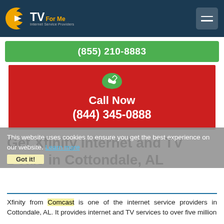[Figure (logo): CTV For Me - Internet Service Providers logo with orange C and white TV text on dark navy background]
(855) 210-8883
[Figure (infographic): Red call-to-action banner with phone icon, 'Call Now' text, and phone number (844) 345-0888]
Get Xfinity Internet and TV Deals in Cottondale, AL
This website uses cookies to ensure you get the best experience on our website. Learn more
Xfinity from Comcast is one of the internet service providers in Cottondale, AL. It provides internet and TV services to over five million